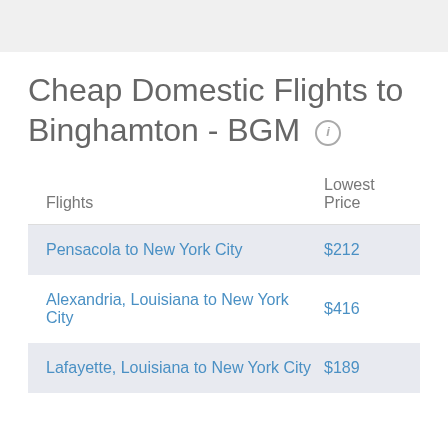Cheap Domestic Flights to Binghamton - BGM
| Flights | Lowest Price |
| --- | --- |
| Pensacola to New York City | $212 |
| Alexandria, Louisiana to New York City | $416 |
| Lafayette, Louisiana to New York City | $189 |